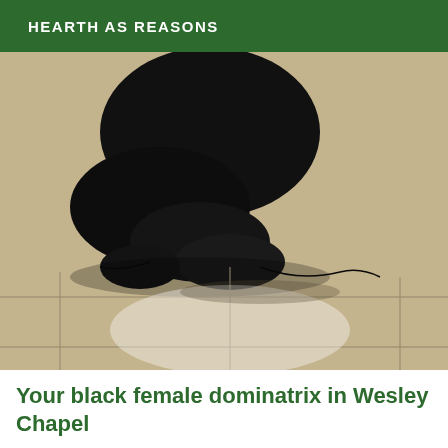HEARTH AS REASONS
[Figure (photo): A person dressed in black clothing kneeling on a beige/cream tiled floor, with their head bowed down toward the floor. The figure is wearing dark leather or latex clothing. The tile floor has grey grout lines visible.]
Your black female dominatrix in Wesley Chapel